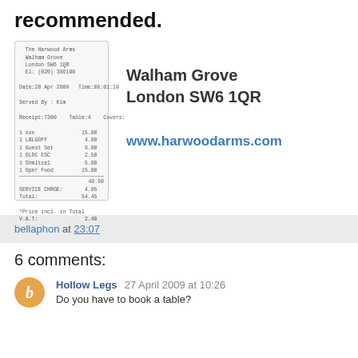recommended.
[Figure (photo): A receipt from Harwood Arms restaurant]
Walham Grove
London SW6 1QR
www.harwoodarms.com
bellaphon at 23:07
6 comments:
Hollow Legs 27 April 2009 at 10:26
Do you have to book a table?